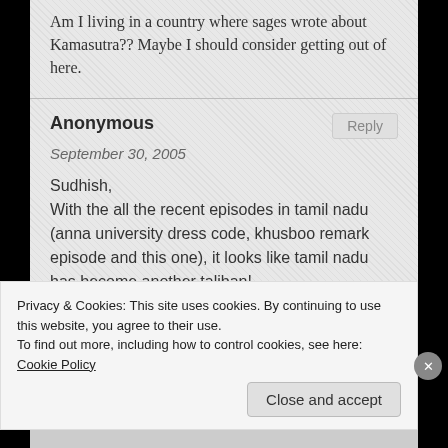Am I living in a country where sages wrote about Kamasutra?? Maybe I should consider getting out of here.
Anonymous
September 30, 2005
Sudhish,
With the all the recent episodes in tamil nadu (anna university dress code, khusboo remark episode and this one), it looks like tamil nadu has become another taliban!
Regarding, the kissing in public, I do think ethos vary from place to place. In a soceity as conservative as indian, such changes should be
Privacy & Cookies: This site uses cookies. By continuing to use this website, you agree to their use.
To find out more, including how to control cookies, see here: Cookie Policy
Close and accept